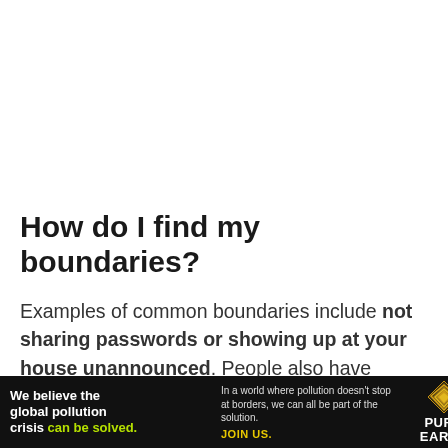How do I find my boundaries?
Examples of common boundaries include not sharing passwords or showing up at your house unannounced. People also have boundaries when it comes to sex and physical touch. It's important to know your partner's boundaries and respecting their intimate...
[Figure (other): Pure Earth advertisement banner: black background with white and yellow-green text reading 'We believe the global pollution crisis can be solved.' alongside smaller text 'In a world where pollution doesn't stop at borders, we can all be part of the solution. JOIN US.' and the Pure Earth logo (diamond-shaped layered icon in gold/yellow) with 'PURE EARTH' in white text.]